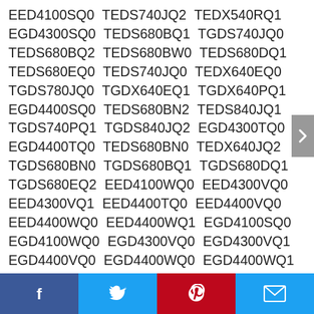EED4100SQ0 TEDS740JQ2 TEDX540RQ1 EGD4300SQ0 TEDS680BQ1 TGDS740JQ0 TEDS680BQ2 TEDS680BW0 TEDS680DQ1 TEDS680EQ0 TEDS740JQ0 TEDX640EQ0 TGDS780JQ0 TGDX640EQ1 TGDX640PQ1 EGD4400SQ0 TEDS680BN2 TEDS840JQ1 TGDS740PQ1 TGDS840JQ2 EGD4300TQ0 EGD4400TQ0 TEDS680BN0 TEDX640JQ2 TGDS680BN0 TGDS680BQ1 TGDS680DQ1 TGDS680EQ2 EED4100WQ0 EED4300VQ0 EED4300VQ1 EED4400TQ0 EED4400VQ0 EED4400WQ0 EED4400WQ1 EGD4100SQ0 EGD4100WQ0 EGD4300VQ0 EGD4300VQ1 EGD4400VQ0 EGD4400WQ0 EGD4400WQ1 TEDS680BN1 TEDS680BW1 TEDS680BW2
Facebook Twitter Pinterest Email